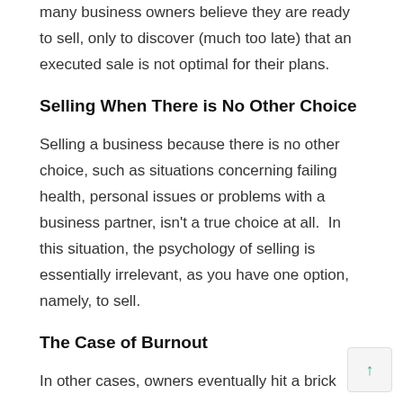many business owners believe they are ready to sell, only to discover (much too late) that an executed sale is not optimal for their plans.
Selling When There is No Other Choice
Selling a business because there is no other choice, such as situations concerning failing health, personal issues or problems with a business partner, isn't a true choice at all.  In this situation, the psychology of selling is essentially irrelevant, as you have one option, namely, to sell.
The Case of Burnout
In other cases, owners eventually hit a brick